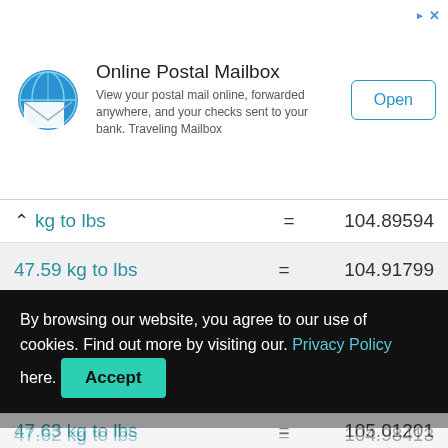[Figure (other): Advertisement banner for Online Postal Mailbox with globe/envelope icon, text description, and Open button]
| Conversion | = | Result |
| --- | --- | --- |
| kg to lbs | = | 104.89594 |
| 47.59 kg to lbs | = | 104.91799 |
| 47.6 kg to lbs | = | 104.94004 |
| 47.61 kg to lbs | = | 104.96208 |
| 47.62 kg to lbs | = | 104.98413 |
By browsing our website, you agree to our use of cookies. Find out more by visiting our. Privacy Policy here.
Accept